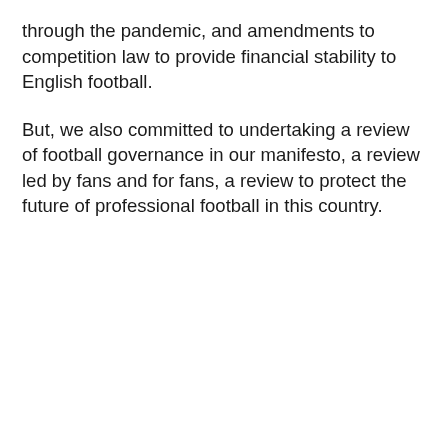through the pandemic, and amendments to competition law to provide financial stability to English football.
But, we also committed to undertaking a review of football governance in our manifesto, a review led by fans and for fans, a review to protect the future of professional football in this country.